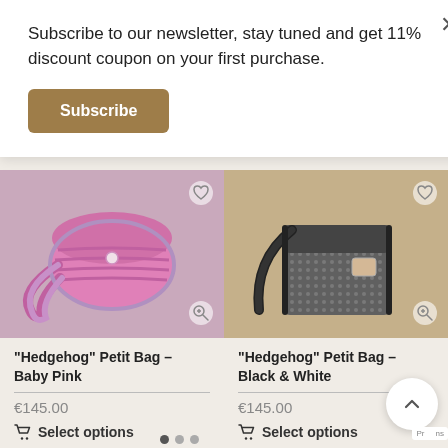Subscribe to our newsletter, stay tuned and get 11% discount coupon on your first purchase.
Subscribe
[Figure (photo): Pink crocheted small crossbody bag on beige background]
[Figure (photo): Black and white crocheted small crossbody bag on beige background]
"Hedgehog" Petit Bag – Baby Pink
€145.00
Select options
"Hedgehog" Petit Bag – Black & White
€145.00
Select options